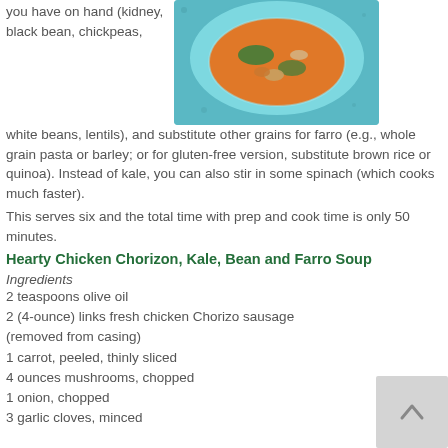you have on hand (kidney, black bean, chickpeas, white beans, lentils), and substitute other grains for farro (e.g., whole grain pasta or barley; or for gluten-free version, substitute brown rice or quinoa). Instead of kale, you can also stir in some spinach (which cooks much faster).
[Figure (photo): Photo of hearty chicken chorizo, kale, bean and farro soup in a blue bowl]
This serves six and the total time with prep and cook time is only 50 minutes.
Hearty Chicken Chorizon, Kale, Bean and Farro Soup
Ingredients
2 teaspoons olive oil
2 (4-ounce) links fresh chicken Chorizo sausage (removed from casing)
1 carrot, peeled, thinly sliced
4 ounces mushrooms, chopped
1 onion, chopped
3 garlic cloves, minced